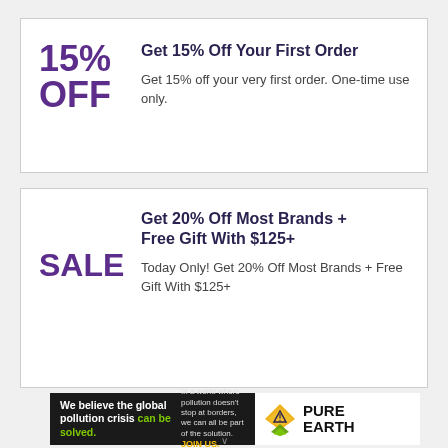Get 15% Off Your First Order
Get 15% off your very first order. One-time use only.
Get 20% Off Most Brands + Free Gift With $125+
Today Only! Get 20% Off Most Brands + Free Gift With $125+
[Figure (infographic): Pure Earth advertisement banner: black background left side with text 'We believe the global pollution crisis can be solved.' and 'In a world where pollution doesn't stop at borders, we can all be part of the solution. JOIN US.' White background right side with Pure Earth logo (diamond/leaf icon) and PURE EARTH text.]